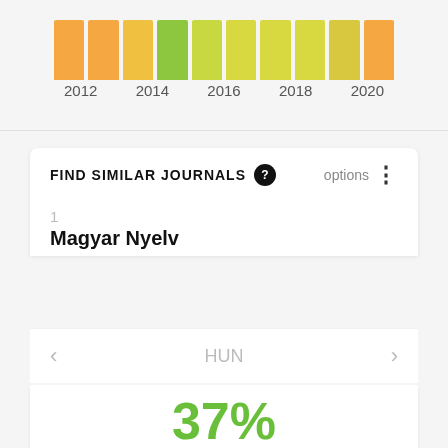[Figure (bar-chart): Year bar chart]
FIND SIMILAR JOURNALS
options
1
Magyar Nyelv
HUN
37%
similarity